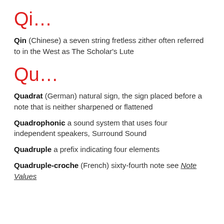Qi…
Qin (Chinese) a seven string fretless zither often referred to in the West as The Scholar's Lute
Qu…
Quadrat (German) natural sign, the sign placed before a note that is neither sharpened or flattened
Quadrophonic a sound system that uses four independent speakers, Surround Sound
Quadruple a prefix indicating four elements
Quadruple-croche (French) sixty-fourth note see Note Values